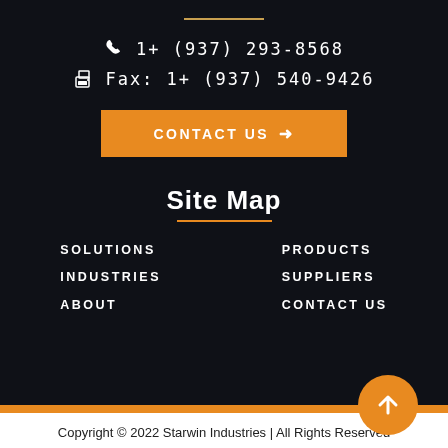1+ (937) 293-8568
Fax: 1+ (937) 540-9426
CONTACT US →
Site Map
SOLUTIONS
INDUSTRIES
ABOUT
PRODUCTS
SUPPLIERS
CONTACT US
Copyright © 2022 Starwin Industries | All Rights Reserved